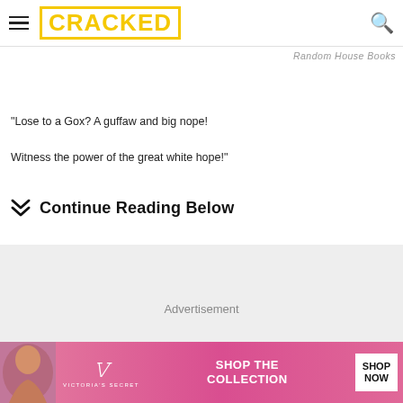CRACKED
Random House Books
"Lose to a Gox? A guffaw and big nope!
Witness the power of the great white hope!"
Continue Reading Below
[Figure (other): Advertisement placeholder box]
[Figure (other): Victoria's Secret banner advertisement with model, VS logo, SHOP THE COLLECTION text, and SHOP NOW button]